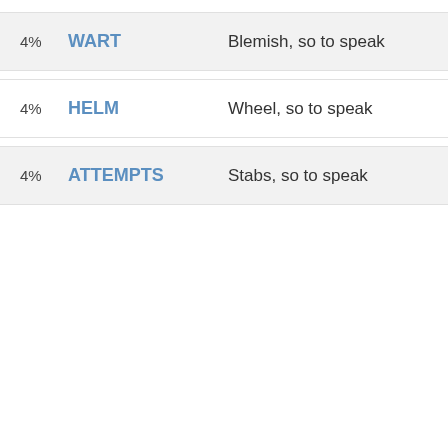4% WART Blemish, so to speak
4% HELM Wheel, so to speak
4% ATTEMPTS Stabs, so to speak